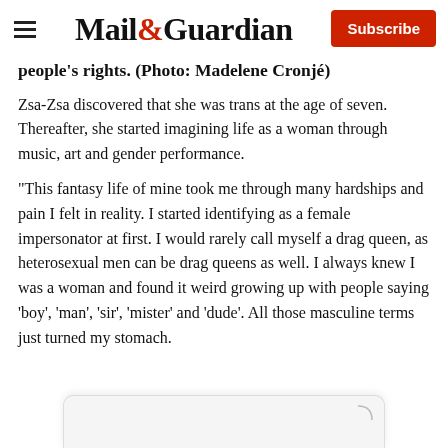Mail&Guardian — Subscribe
people's rights. (Photo: Madelene Cronjé)
Zsa-Zsa discovered that she was trans at the age of seven. Thereafter, she started imagining life as a woman through music, art and gender performance.
“This fantasy life of mine took me through many hardships and pain I felt in reality. I started identifying as a female impersonator at first. I would rarely call myself a drag queen, as heterosexual men can be drag queens as well. I always knew I was a woman and found it weird growing up with people saying ‘boy’, ‘man’, ‘sir’, ‘mister’ and ‘dude’. All those masculine terms just turned my stomach.